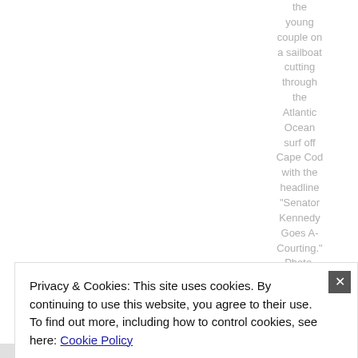the young couple on a sailboat cutting through the Atlantic Ocean surf off Cape Cod with the headline "Senator Kennedy Goes A-Courting." Photo, booth picture
Privacy & Cookies: This site uses cookies. By continuing to use this website, you agree to their use. To find out more, including how to control cookies, see here: Cookie Policy
Close and accept